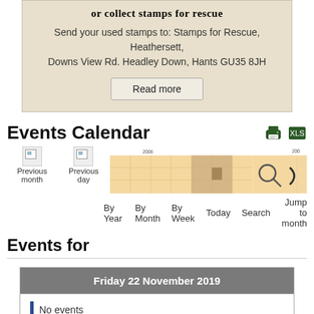or collect stamps for rescue
Send your used stamps to: Stamps for Rescue, Heathersett, Downs View Rd. Headley Down, Hants GU35 8JH
Read more
Events Calendar
[Figure (screenshot): Calendar navigation strip with Previous month, Previous day icons and year/month view controls showing By Year, By Month, By Week, Today, Search, Jump to month]
Events for
| Friday 22 November 2019 |
| --- |
| No events |